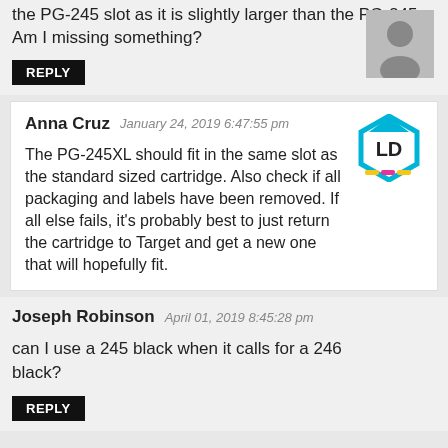the PG-245 slot as it is slightly larger than the PG-245. Am I missing something?
REPLY
Anna Cruz   January 24, 2019 6:47:55 pm
The PG-245XL should fit in the same slot as the standard sized cartridge. Also check if all packaging and labels have been removed. If all else fails, it's probably best to just return the cartridge to Target and get a new one that will hopefully fit.
Joseph Robinson   April 01, 2019 8:45:28 pm
can I use a 245 black when it calls for a 246 black?
REPLY